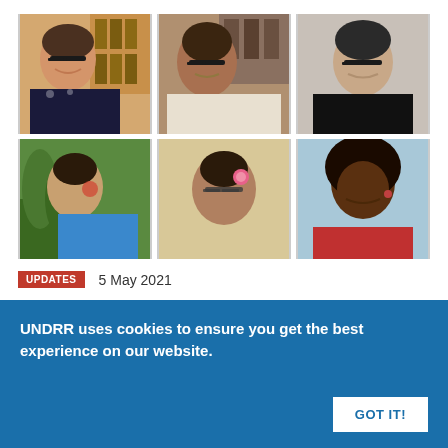[Figure (photo): Grid of six photos of women, arranged in two rows of three, from a video conference or portrait setting.]
UPDATES   5 May 2021
Counting women: using disaggregated data to build resilience
UNDRR uses cookies to ensure you get the best experience on our website.
GOT IT!